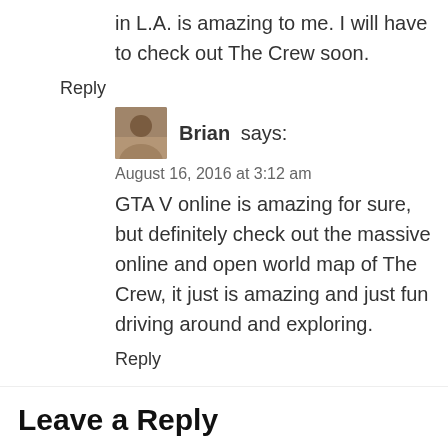in L.A. is amazing to me. I will have to check out The Crew soon.
Reply
Brian says:
August 16, 2016 at 3:12 am
GTA V online is amazing for sure, but definitely check out the massive online and open world map of The Crew, it just is amazing and just fun driving around and exploring.
Reply
Leave a Reply
Your email address will not be published.
Your Message